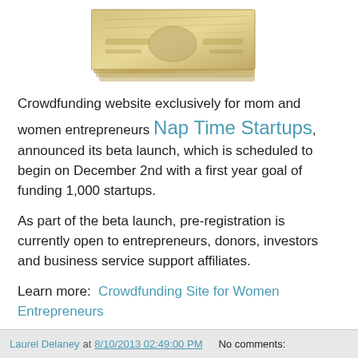[Figure (photo): Photo of fanned US dollar bills]
Crowdfunding website exclusively for mom and women entrepreneurs Nap Time Startups, announced its beta launch, which is scheduled to begin on December 2nd with a first year goal of funding 1,000 startups.
As part of the beta launch, pre-registration is currently open to entrepreneurs, donors, investors and business service support affiliates.
Learn more:  Crowdfunding Site for Women Entrepreneurs
And don't forget to pay a visit to Kickstarter and Indiegogo - two other large funding platforms.
Photo courtesy:  401(K) 2012
Laurel Delaney at 8/10/2013 02:49:00 PM   No comments: